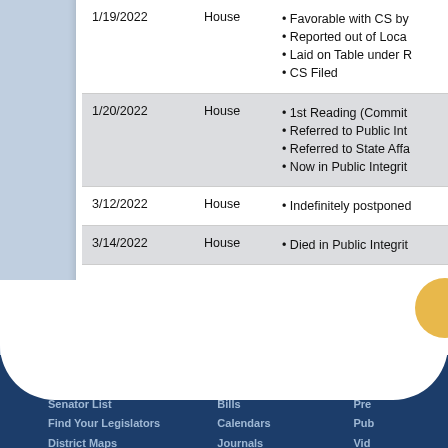| Date | Chamber | Actions |
| --- | --- | --- |
| 1/19/2022 | House | • Favorable with CS by
• Reported out of Loca
• Laid on Table under R
• CS Filed |
| 1/20/2022 | House | • 1st Reading (Commit
• Referred to Public Int
• Referred to State Affa
• Now in Public Integrit |
| 3/12/2022 | House | • Indefinitely postponed |
| 3/14/2022 | House | • Died in Public Integrit |
Senators
Senator List
Find Your Legislators
District Maps
Vote Disclosures
Session
Bills
Calendars
Journals
Appropriations
Media
Pre
Pub
Vid
To